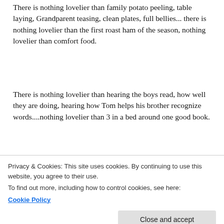There is nothing lovelier than family potato peeling, table laying, Grandparent teasing, clean plates, full bellies... there is nothing lovelier than the first roast ham of the season, nothing lovelier than comfort food.
There is nothing lovelier than hearing the boys read, how well they are doing, hearing how Tom helps his brother recognize words....nothing lovelier than 3 in a bed around one good book.
There is nothing lovelier than a full pot of tea, Sunday TV... and while I am a little melancholy the
Privacy & Cookies: This site uses cookies. By continuing to use this website, you agree to their use.
To find out more, including how to control cookies, see here:
Cookie Policy
There is nothing lovelier than going to bed on a